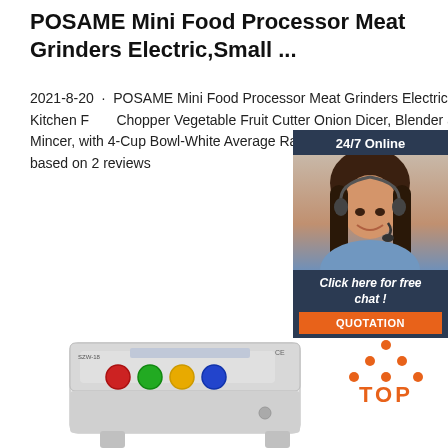POSAME Mini Food Processor Meat Grinders Electric,Small ...
2021-8-20 · POSAME Mini Food Processor Meat Grinders Electric,Small Kitchen Food Chopper Vegetable Fruit Cutter Onion Dicer, Blender and Mincer, with 4-Cup Bowl-White Average Rating: ( 5.0 ) stars stars 2 ratings, based on 2 reviews
[Figure (infographic): 24/7 Online chat widget showing a customer service representative with headset. Dark navy background with orange QUOTATION button. Text: '24/7 Online', 'Click here for free chat!']
Get Price
[Figure (photo): Industrial meat grinder / food processor machine, white colored, with control panel showing red, green, and yellow buttons.]
[Figure (logo): TOP logo with orange dots arranged in a triangle above the word TOP in orange text]